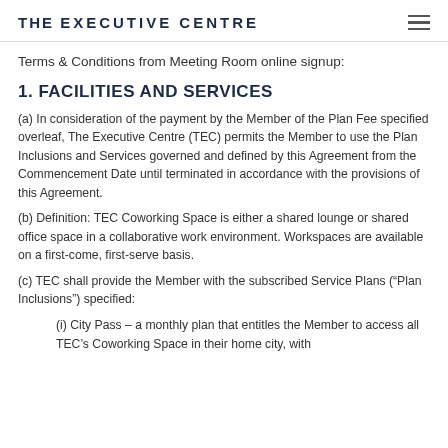THE EXECUTIVE CENTRE
Terms & Conditions from Meeting Room online signup:
1. FACILITIES AND SERVICES
(a) In consideration of the payment by the Member of the Plan Fee specified overleaf, The Executive Centre (TEC) permits the Member to use the Plan Inclusions and Services governed and defined by this Agreement from the Commencement Date until terminated in accordance with the provisions of this Agreement.
(b) Definition: TEC Coworking Space is either a shared lounge or shared office space in a collaborative work environment. Workspaces are available on a first-come, first-serve basis.
(c) TEC shall provide the Member with the subscribed Service Plans (“Plan Inclusions”) specified:
(i) City Pass – a monthly plan that entitles the Member to access all TEC’s Coworking Space in their home city, with